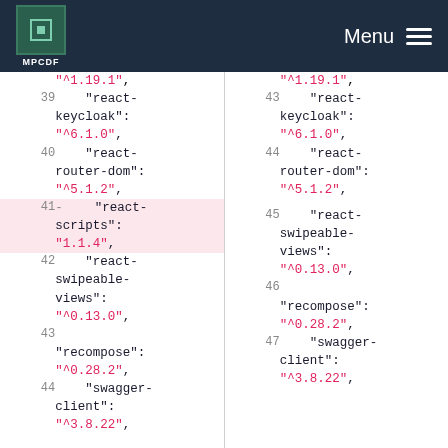MPCDF Menu
Code diff view showing package.json dependencies. Left side lines 39-44, right side lines 43-47. Line 41 (left) is removed: "react-scripts": "1.1.4",